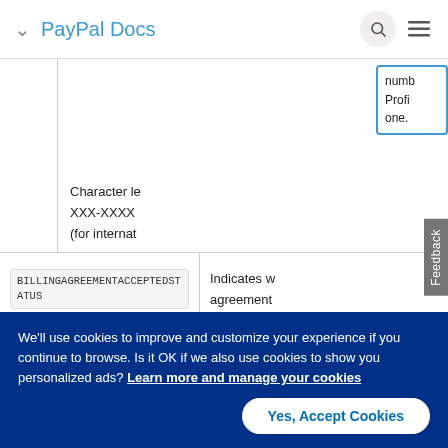PayPal Docs
numb... Profi... one.
Character le... XXX-XXXX... (for internat...
| Field | Description |
| --- | --- |
| BILLINGAGREEMENTACCEPTEDSTATUS | Indicates w... agreement... |
We'll use cookies to improve and customize your experience if you continue to browse. Is it OK if we also use cookies to show you personalized ads? Learn more and manage your cookies
Yes, Accept Cookies